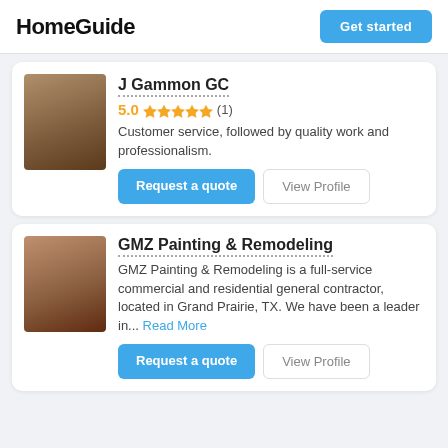HomeGuide
Get started
J Gammon GC
5.0 ★★★★★ (1)
Customer service, followed by quality work and professionalism.
Request a quote
View Profile
GMZ Painting & Remodeling
GMZ Painting & Remodeling is a full-service commercial and residential general contractor, located in Grand Prairie, TX. We have been a leader in... Read More
Request a quote
View Profile